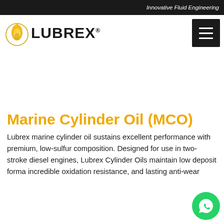Innovative Fluid Engineering
[Figure (logo): Lubrex logo with yellow flame/drop icon and bold black LUBREX text with registered trademark symbol]
[Figure (other): Hamburger menu icon (three horizontal white lines on black background)]
Marine Cylinder Oil (MCO)
Lubrex marine cylinder oil sustains excellent performance with premium, low-sulfur composition. Designed for use in two-stroke diesel engines, Lubrex Cylinder Oils maintain low deposit forma incredible oxidation resistance, and lasting anti-wear
[Figure (other): WhatsApp button icon (green circle with white WhatsApp logo)]